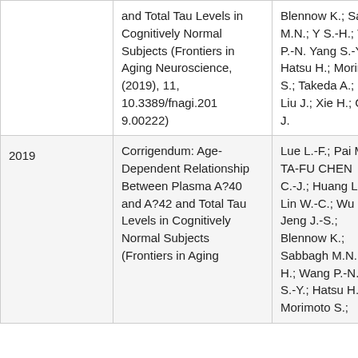| Year | Title | Authors |
| --- | --- | --- |
|  | and Total Tau Levels in Cognitively Normal Subjects (Frontiers in Aging Neuroscience, (2019), 11, 10.3389/fnagi.2019.00222) | Blennow K.; Sabbagh M.N.; Y S.-H.; Wang P.-N. Yang S.-Y.; Hatsu H.; Morimoto S.; Takeda A.; Itoh Y Liu J.; Xie H.; Chi M.-J. |
| 2019 | Corrigendum: Age-Dependent Relationship Between Plasma A?40 and A?42 and Total Tau Levels in Cognitively Normal Subjects (Frontiers in Aging | Lue L.-F.; Pai M.- TA-FU CHEN; D C.-J.; Huang L.-K Lin W.-C.; Wu C.- Jeng J.-S.; Blennow K.; Sabbagh M.N.; Y S.-H.; Wang P.-N. Yang S.-Y.; Hatsu H.; Morimoto S. |